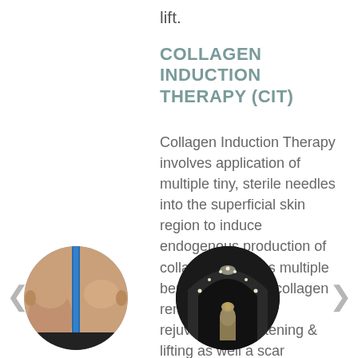lift.
COLLAGEN INDUCTION THERAPY (CIT)
Collagen Induction Therapy involves application of multiple tiny, sterile needles into the superficial skin region to induce endogenous production of collagen.  CIT has multiple benefits including collagen remodeling, skin rejuvination, tightening & lifting as well a scar softening.
[Figure (photo): Circular cropped before-and-after photo of a man's chin/neck area with a blue vertical dividing line down the center]
[Figure (photo): Circular cropped dark photo showing an ornate ceiling/dome interior with lights and an Egyptian bust or statue below]